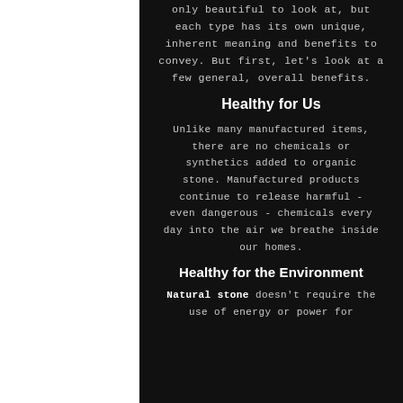only beautiful to look at, but each type has its own unique, inherent meaning and benefits to convey. But first, let's look at a few general, overall benefits.
Healthy for Us
Unlike many manufactured items, there are no chemicals or synthetics added to organic stone. Manufactured products continue to release harmful - even dangerous - chemicals every day into the air we breathe inside our homes.
Healthy for the Environment
Natural stone doesn't require the use of energy or power for